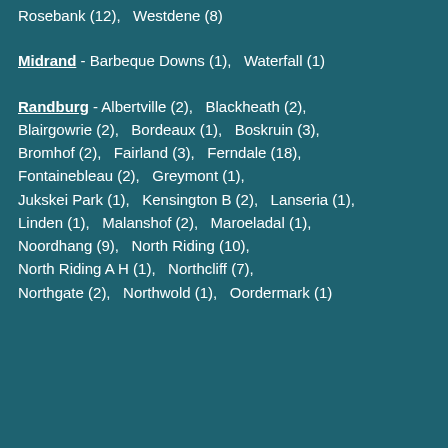Rosebank (12),   Westdene (8)
Midrand - Barbeque Downs (1),   Waterfall (1)
Randburg - Albertville (2),   Blackheath (2),   Blairgowrie (2),   Bordeaux (1),   Boskruin (3),   Bromhof (2),   Fairland (3),   Ferndale (18),   Fontainebleau (2),   Greymont (1),   Jukskei Park (1),   Kensington B (2),   Lanseria (1),   Linden (1),   Malanshof (2),   Maroeladal (1),   Noordhang (9),   North Riding (10),   North Riding A H (1),   Northcliff (7),   Northgate (2),   Northwold (1),   Oordermark (1)